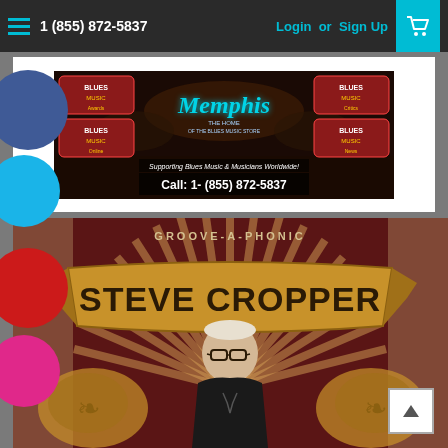1 (855) 872-5837   Login or Sign Up
[Figure (logo): Memphis Blues Music Store banner with Blues Music logos in corners, Memphis script title, Supporting Blues Music & Musicians Worldwide!, Call: 1-(855) 872-5837]
[Figure (photo): Steve Cropper Groove-A-Phonic album art showing stylized retro poster with man in glasses and decorative banner reading STEVE CROPPER]